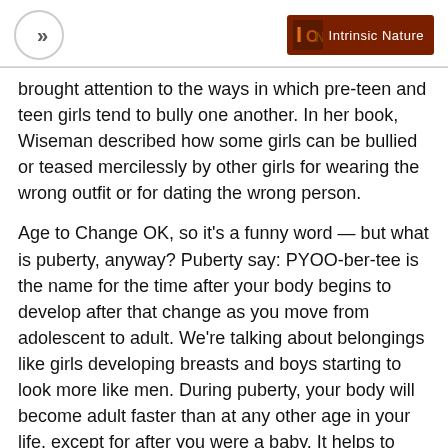» | Intrinsic Nature
brought attention to the ways in which pre-teen and teen girls tend to bully one another. In her book, Wiseman described how some girls can be bullied or teased mercilessly by other girls for wearing the wrong outfit or for dating the wrong person.
Age to Change OK, so it's a funny word — but what is puberty, anyway? Puberty say: PYOO-ber-tee is the name for the time after your body begins to develop after that change as you move from adolescent to adult. We're talking about belongings like girls developing breasts and boys starting to look more like men. During puberty, your body will become adult faster than at any other age in your life, except for after you were a baby. It helps to know about the changes so as to puberty causes before they happen. So as to way, you know what to anticipate. It's also important to remember so as to everybody goes through these changes